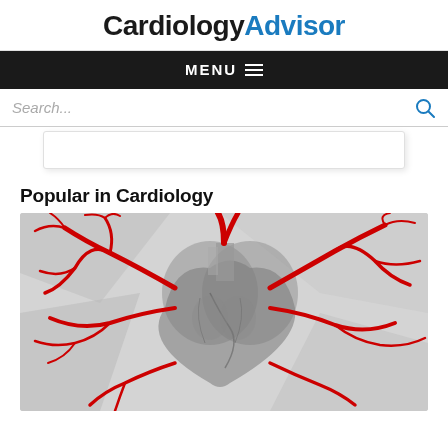Cardiology Advisor
MENU
Search...
Popular in Cardiology
[Figure (illustration): Medical illustration of a human heart with red arteries/blood vessels overlaid on a grayscale anatomical heart drawing, shown against a light gray geometric background.]